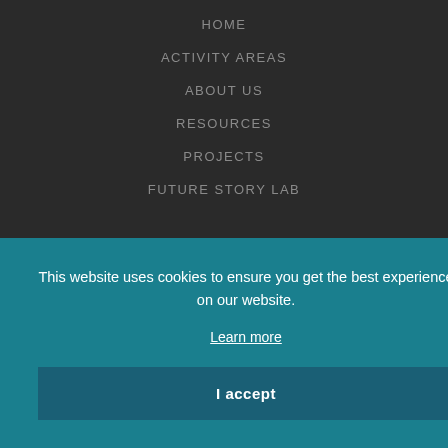HOME
ACTIVITY AREAS
ABOUT US
RESOURCES
PROJECTS
FUTURE STORY LAB
This website uses cookies to ensure you get the best experience on our website.
Learn more
I accept